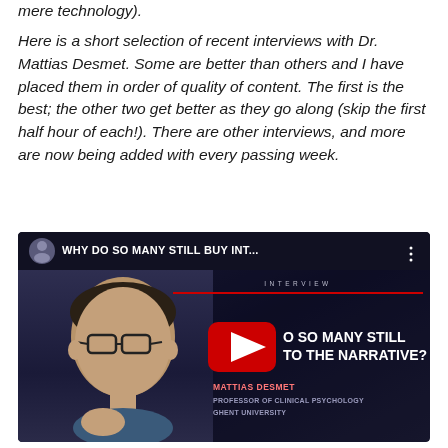mere technology).
Here is a short selection of recent interviews with Dr. Mattias Desmet. Some are better than others and I have placed them in order of quality of content. The first is the best; the other two get better as they go along (skip the first half hour of each!). There are other interviews, and more are now being added with every passing week.
[Figure (screenshot): YouTube video thumbnail showing Mattias Desmet, Professor of Clinical Psychology at Ghent University, with video title 'WHY DO SO MANY STILL BUY INT...' and overlay text 'O SO MANY STILL TO THE NARRATIVE?' with a red YouTube play button.]